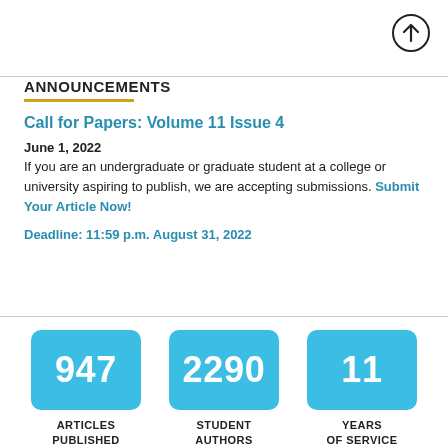[Figure (other): Circular icon with an upward arrow, top-right corner navigation button]
ANNOUNCEMENTS
Call for Papers: Volume 11 Issue 4
June 1, 2022
If you are an undergraduate or graduate student at a college or university aspiring to publish, we are accepting submissions. Submit Your Article Now!
Deadline: 11:59 p.m. August 31, 2022
[Figure (infographic): Three stat boxes: 947 Articles Published, 2290 Student Authors, 11 Years of Service]
ARTICLES PUBLISHED
STUDENT AUTHORS
YEARS OF SERVICE